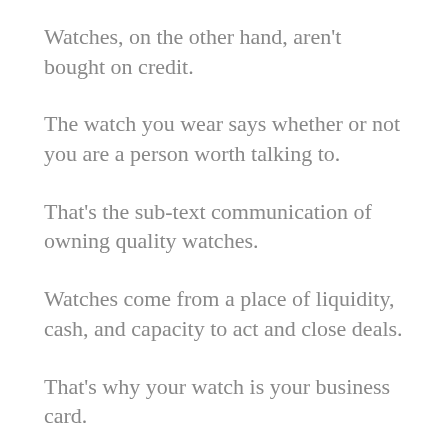Watches, on the other hand, aren't bought on credit.
The watch you wear says whether or not you are a person worth talking to.
That's the sub-text communication of owning quality watches.
Watches come from a place of liquidity, cash, and capacity to act and close deals.
That's why your watch is your business card.
They tell a very clear story about your social status.